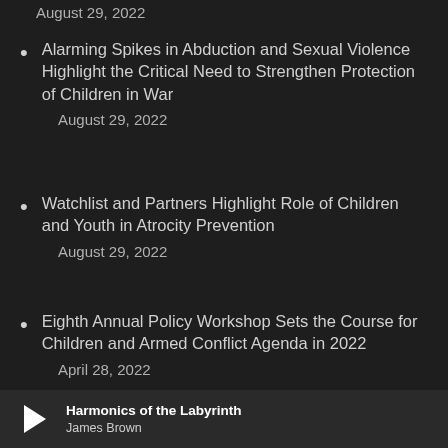August 29, 2022
Alarming Spikes in Abduction and Sexual Violence Highlight the Critical Need to Strengthen Protection of Children in War

August 29, 2022
Watchlist and Partners Highlight Role of Children and Youth in Atrocity Prevention

August 29, 2022
Eighth Annual Policy Workshop Sets the Course for Children and Armed Conflict Agenda in 2022

April 28, 2022
Harmonics of the Labyrinth
James Brown